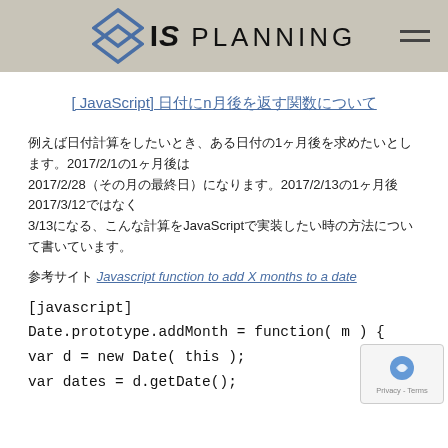IS PLANNING
[ JavaScript] 日付にn月後を返す関数について
例えば日付計算をしたいとき、ある日付の1ヶ月後を求めたいとします。2017/2/1の1ヶ月後は2017/2/28（その月の最終日）になります。2017/2/13の1ヶ月後2017/3/12ではなく3/13になる、こんな計算をJavaScriptで実装したい時の方法について書いています。
参考サイト Javascript function to add X months to a date
[javascript]
Date.prototype.addMonth = function( m ) {
var d = new Date( this );
var dates = d.getDate();